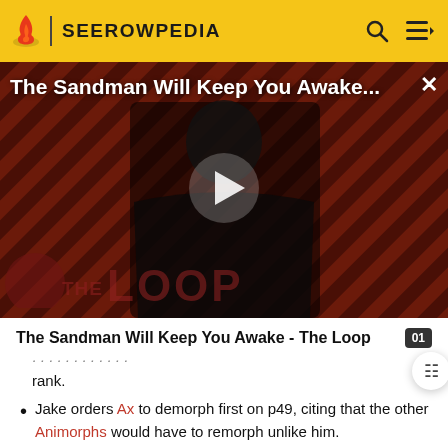SEEROWPEDIA
[Figure (screenshot): Video thumbnail showing a dark-clad figure against a diagonal striped red/dark background with 'THE LOOP' watermark and a play button overlay. Title reads 'The Sandman Will Keep You Awake...']
The Sandman Will Keep You Awake - The Loop
rank.
Jake orders Ax to demorph first on p49, citing that the other Animorphs would have to remorph unlike him.